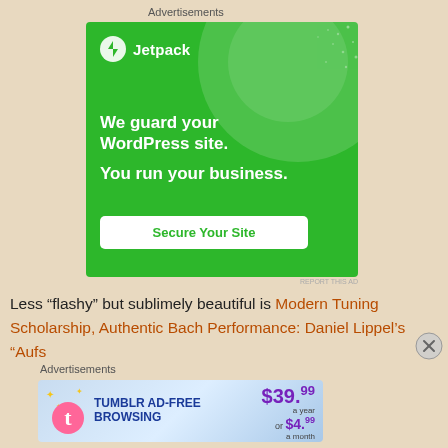Advertisements
[Figure (illustration): Jetpack advertisement banner on green background. Shows Jetpack logo (lightning bolt in circle), text 'We guard your WordPress site. You run your business.' and a 'Secure Your Site' call-to-action button.]
Less “flashy” but sublimely beautiful is Modern Tuning Scholarship, Authentic Bach Performance: Daniel Lippel’s “Aufs
Advertisements
[Figure (illustration): Tumblr Ad-Free Browsing advertisement. Shows Tumblr logo, text 'TUMBLR AD-FREE BROWSING', price '$39.99 a year or $4.99 a month'.]